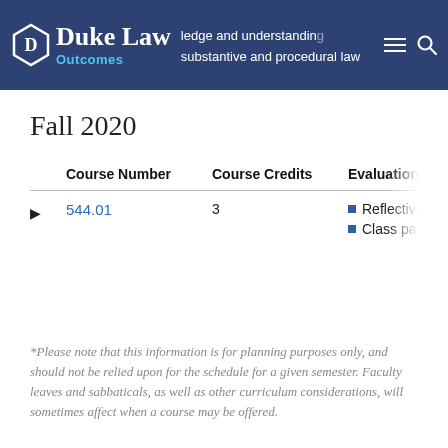Duke Law Outcomes — knowledge and understanding substantive and procedural law
Fall 2020
|  | Course Number | Course Credits | Evaluation Me... |
| --- | --- | --- | --- |
| ▶ | 544.01 | 3 | Reflective Wr...
Class partici... |
*Please note that this information is for planning purposes only, and should not be relied upon for the schedule for a given semester. Faculty leaves and sabbaticals, as well as other curriculum considerations, will sometimes affect when a course may be offered.